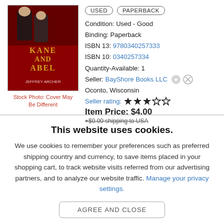[Figure (illustration): Book cover of Kane and Abel showing two men in suits against a red background with city skyline]
Stock Photo: Cover May Be Different
USED   PAPERBACK
Condition: Used - Good
Binding: Paperback
ISBN 13: 9780340257333
ISBN 10: 0340257334
Quantity-Available: 1
Seller: BayShore Books LLC
Oconto, Wisconsin
Seller rating: ★★★☆☆
Item Price: $4.00
+$0.00 shipping to USA
This website uses cookies.
We use cookies to remember your preferences such as preferred shipping country and currency, to save items placed in your shopping cart, to track website visits referred from our advertising partners, and to analyze our website traffic. Manage your privacy settings.
AGREE AND CLOSE